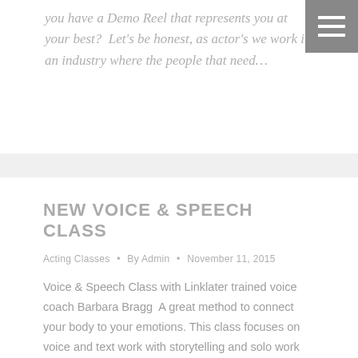you have a Demo Reel that represents you at your best?  Let's be honest, as actor's we work in an industry where the people that need…
NEW VOICE & SPEECH CLASS
Acting Classes • By Admin • November 11, 2015
Voice & Speech Class with Linklater trained voice coach Barbara Bragg  A great method to connect your body to your emotions. This class focuses on voice and text work with storytelling and solo work techniques. This class is taught by Barbara Bragg who holds an MFA from Yale Drama School and is Linklater trained. Barbara's…